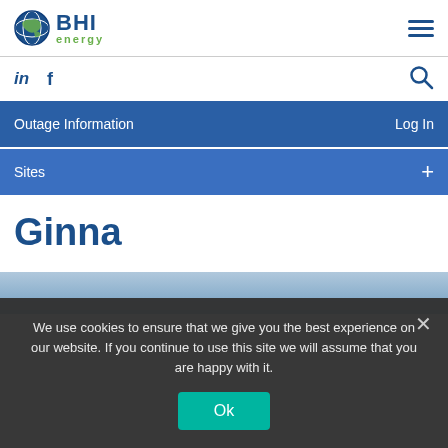[Figure (logo): BHI Energy logo with globe icon, 'BHI' in dark blue bold text and 'energy' in green below]
BHI energy — navigation header with hamburger menu, LinkedIn, Facebook, search icons, Outage Information, Log In, Sites navigation bars
Ginna
[Figure (photo): Partial view of what appears to be a nuclear or energy facility near water, bluish-gray tones]
We use cookies to ensure that we give you the best experience on our website. If you continue to use this site we will assume that you are happy with it.